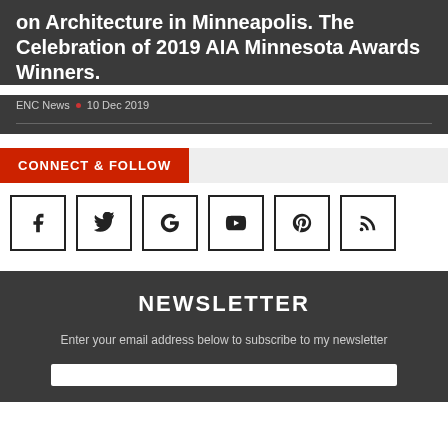on Architecture in Minneapolis. The Celebration of 2019 AIA Minnesota Awards Winners.
ENC News · 10 Dec 2019
CONNECT & FOLLOW
[Figure (infographic): Row of 6 social media icon boxes: Facebook (f), Twitter (bird), Google (G), YouTube (play button), Pinterest (P), RSS (signal icon)]
NEWSLETTER
Enter your email address below to subscribe to my newsletter